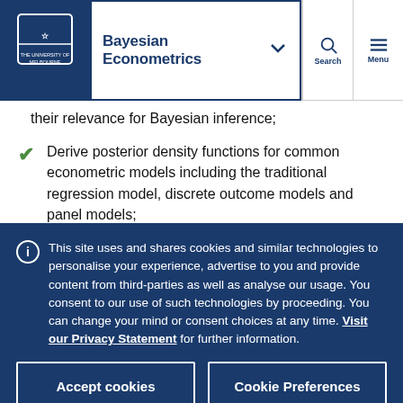Bayesian Econometrics
their relevance for Bayesian inference;
Derive posterior density functions for common econometric models including the traditional regression model, discrete outcome models and panel models;
Explain the relevance of Markov chain Monte
This site uses and shares cookies and similar technologies to personalise your experience, advertise to you and provide content from third-parties as well as analyse our usage. You consent to our use of such technologies by proceeding. You can change your mind or consent choices at any time. Visit our Privacy Statement for further information.
Accept cookies | Cookie Preferences